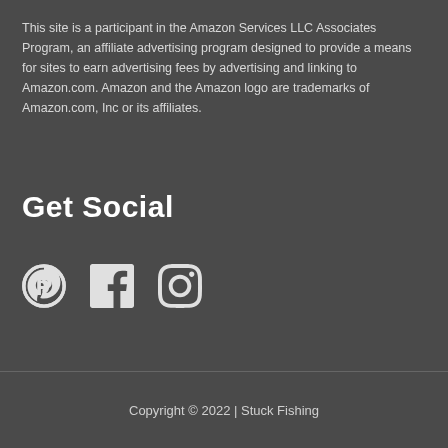This site is a participant in the Amazon Services LLC Associates Program, an affiliate advertising program designed to provide a means for sites to earn advertising fees by advertising and linking to Amazon.com. Amazon and the Amazon logo are trademarks of Amazon.com, Inc or its affiliates.
Get Social
[Figure (other): Social media icons for Pinterest, Facebook, and Instagram]
Copyright © 2022 | Stuck Fishing